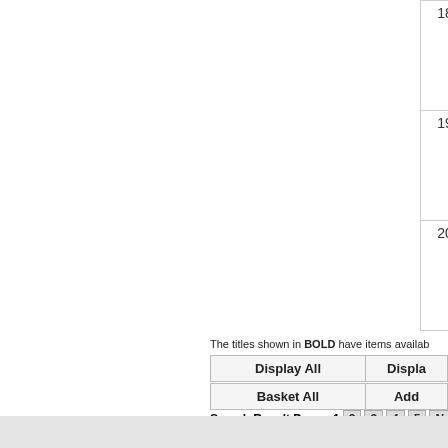| # |  | Title |
| --- | --- | --- |
| 18 |  | Lest we forget. : Hur sketches. / [Compiled] b soldier. [Book] |
| 19 |  | Museum culture : hi discourses, spectacles / Sherman and Irit Rogoff, [Book] |
| 20 |  | My name is Gulpilil. Media] |
Search Result Page:   1  2  3  4  5  Ne
The titles shown in BOLD have items availab
Display All
Displa
Basket All
Add